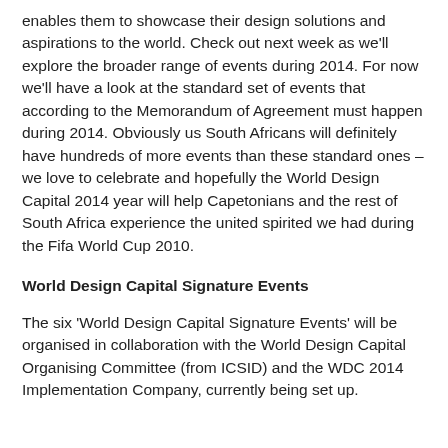enables them to showcase their design solutions and aspirations to the world. Check out next week as we'll explore the broader range of events during 2014. For now we'll have a look at the standard set of events that according to the Memorandum of Agreement must happen during 2014. Obviously us South Africans will definitely have hundreds of more events than these standard ones – we love to celebrate and hopefully the World Design Capital 2014 year will help Capetonians and the rest of South Africa experience the united spirited we had during the Fifa World Cup 2010.
World Design Capital Signature Events
The six 'World Design Capital Signature Events' will be organised in collaboration with the World Design Capital Organising Committee (from ICSID) and the WDC 2014 Implementation Company, currently being set up.